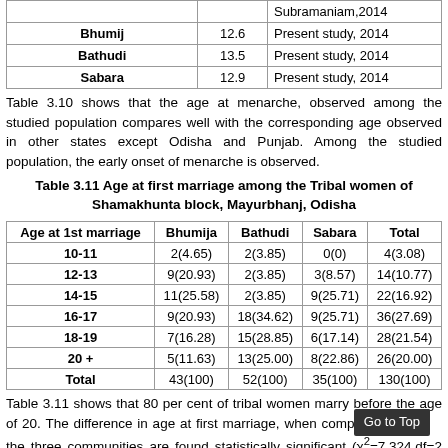|  |  | Subramaniam,2014 |
| --- | --- | --- |
| Bhumij | 12.6 | Present study, 2014 |
| Bathudi | 13.5 | Present study, 2014 |
| Sabara | 12.9 | Present study, 2014 |
Table 3.10 shows that the age at menarche, observed among the studied population compares well with the corresponding age observed in other states except Odisha and Punjab. Among the studied population, the early onset of menarche is observed.
Table 3.11 Age at first marriage among the Tribal women of Shamakhunta block, Mayurbhanj, Odisha
| Age at 1st marriage | Bhumija | Bathudi | Sabara | Total |
| --- | --- | --- | --- | --- |
| 10-11 | 2(4.65) | 2(3.85) | 0(0) | 4(3.08) |
| 12-13 | 9(20.93) | 2(3.85) | 3(8.57) | 14(10.77) |
| 14-15 | 11(25.58) | 2(3.85) | 9(25.71) | 22(16.92) |
| 16-17 | 9(20.93) | 18(34.62) | 9(25.71) | 36(27.69) |
| 18-19 | 7(16.28) | 15(28.85) | 6(17.14) | 28(21.54) |
| 20 + | 5(11.63) | 13(25.00) | 8(22.86) | 26(20.00) |
| Total | 43(100) | 52(100) | 35(100) | 130(100) |
Table 3.11 shows that 80 per cent of tribal women marry before the age of 20. The difference in age at first marriage, when compared the three communities are found statistically significant (χ²=7.324,df=2 p<0.001).